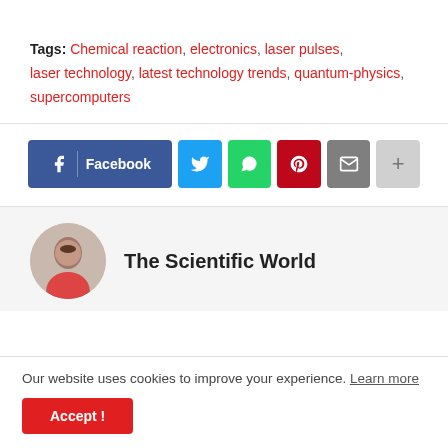Tags: Chemical reaction, electronics, laser pulses, laser technology, latest technology trends, quantum-physics, supercomputers
[Figure (other): Social share buttons row: Facebook (blue), Twitter (light blue), WhatsApp (green), Pinterest (red), Email (grey), More (light grey with plus icon)]
The Scientific World
Our website uses cookies to improve your experience. Learn more
Accept !